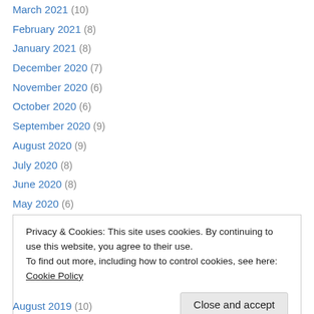March 2021 (10)
February 2021 (8)
January 2021 (8)
December 2020 (7)
November 2020 (6)
October 2020 (6)
September 2020 (9)
August 2020 (9)
July 2020 (8)
June 2020 (8)
May 2020 (6)
April 2020 (5)
March 2020 (7)
Privacy & Cookies: This site uses cookies. By continuing to use this website, you agree to their use. To find out more, including how to control cookies, see here: Cookie Policy
August 2019 (10)